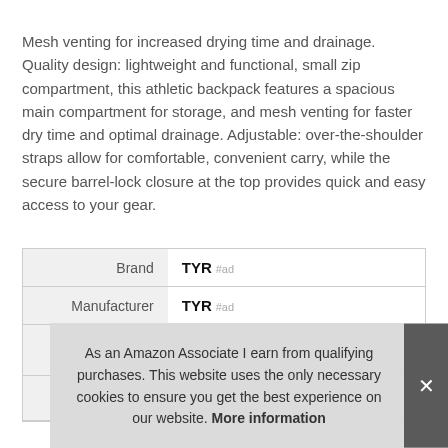Mesh venting for increased drying time and drainage. Quality design: lightweight and functional, small zip compartment, this athletic backpack features a spacious main compartment for storage, and mesh venting for faster dry time and optimal drainage. Adjustable: over-the-shoulder straps allow for comfortable, convenient carry, while the secure barrel-lock closure at the top provides quick and easy access to your gear.
|  |  |
| --- | --- |
| Brand | TYR #ad |
| Manufacturer | TYR #ad |
As an Amazon Associate I earn from qualifying purchases. This website uses the only necessary cookies to ensure you get the best experience on our website. More information